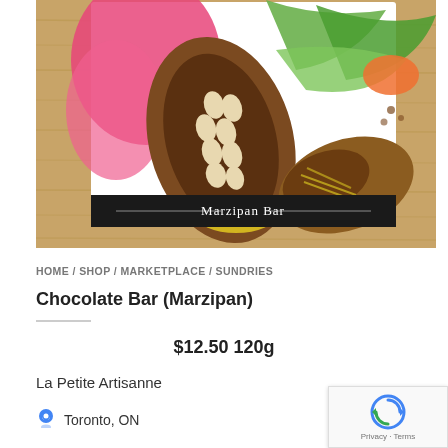[Figure (photo): Photo of a chocolate bar (Marzipan) in colorful tropical packaging showing cocoa pods on a wooden surface. The package has a dark band reading 'Marzipan Bar'.]
HOME / SHOP / MARKETPLACE / SUNDRIES
Chocolate Bar (Marzipan)
$12.50 120g
La Petite Artisanne
Toronto, ON